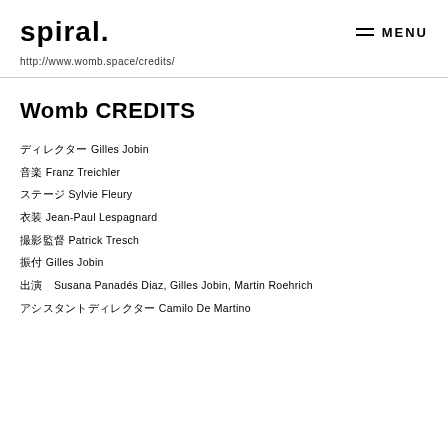spiral. MENU
http://www.womb.space/credits/
Womb CREDITS
ディレクター Gilles Jobin
音楽 Franz Treichler
ステージ Sylvie Fleury
衣装 Jean-Paul Lespagnard
撮影監督 Patrick Tresch
振付 Gilles Jobin
出演　Susana Panadés Diaz, Gilles Jobin, Martin Roehrich
アシスタントディレクター Camilo De Martino